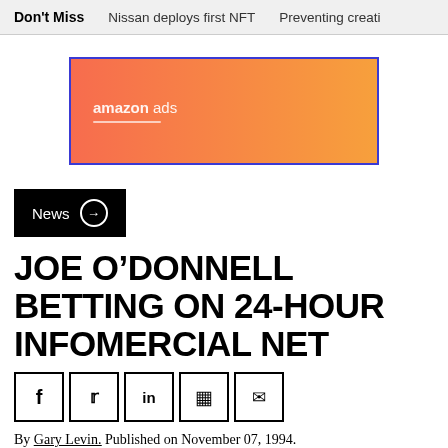Don't Miss   Nissan deploys first NFT   Preventing creati
[Figure (other): Amazon Ads banner advertisement with gradient background (salmon to orange) and blue border]
News →
JOE O'DONNELL BETTING ON 24-HOUR INFOMERCIAL NET
[Figure (other): Social sharing icons: Facebook, Twitter, LinkedIn, Copy, Email]
By Gary Levin. Published on November 07, 1994.
It may be fodder for the likes of Jay Leno and Dave